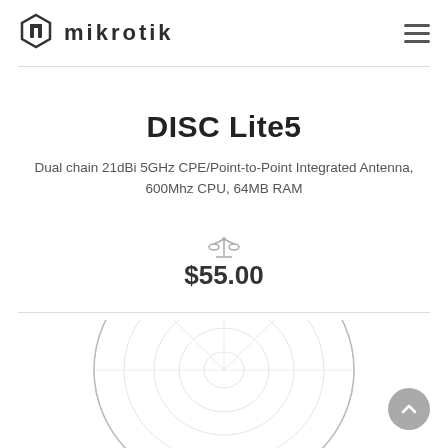MikroTik
DISC Lite5
Dual chain 21dBi 5GHz CPE/Point-to-Point Integrated Antenna, 600Mhz CPU, 64MB RAM
$55.00
[Figure (photo): DISC Lite5 product photo showing a circular dish antenna]